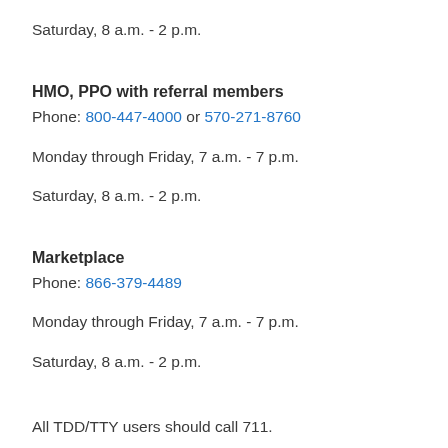Saturday, 8 a.m. - 2 p.m.
HMO, PPO with referral members
Phone: 800-447-4000 or 570-271-8760
Monday through Friday, 7 a.m. - 7 p.m.
Saturday, 8 a.m. - 2 p.m.
Marketplace
Phone: 866-379-4489
Monday through Friday, 7 a.m. - 7 p.m.
Saturday, 8 a.m. - 2 p.m.
All TDD/TTY users should call 711.